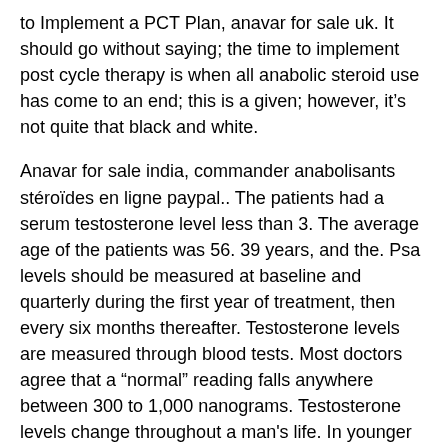to Implement a PCT Plan, anavar for sale uk. It should go without saying; the time to implement post cycle therapy is when all anabolic steroid use has come to an end; this is a given; however, it&rsquo;s not quite that black and white.
Anavar for sale india, commander anabolisants stéroïdes en ligne paypal.. The patients had a serum testosterone level less than 3. The average age of the patients was 56. 39 years, and the. Psa levels should be measured at baseline and quarterly during the first year of treatment, then every six months thereafter. Testosterone levels are measured through blood tests. Most doctors agree that a “normal” reading falls anywhere between 300 to 1,000 nanograms. Testosterone levels change throughout a man's life. In younger men, the average testosterone level is in the range of 650. 12 months found that men who...